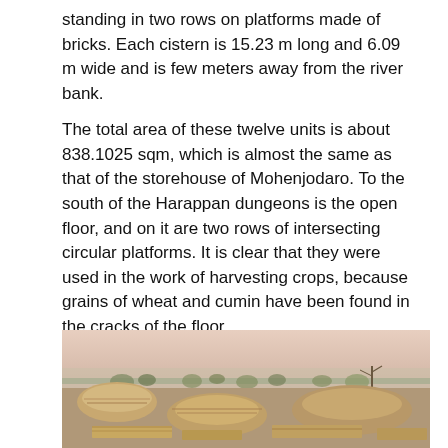standing in two rows on platforms made of bricks. Each cistern is 15.23 m long and 6.09 m wide and is few meters away from the river bank.
The total area of these twelve units is about 838.1025 sqm, which is almost the same as that of the storehouse of Mohenjodaro. To the south of the Harappan dungeons is the open floor, and on it are two rows of intersecting circular platforms. It is clear that they were used in the work of harvesting crops, because grains of wheat and cumin have been found in the cracks of the floor.
[Figure (photo): A landscape photograph of an ancient archaeological site, likely Harappa, showing mounds of earth and excavated brick ruins in the foreground, sparse trees in the midground, and a hazy, flat plain extending to the horizon under a pale pinkish-grey sky.]